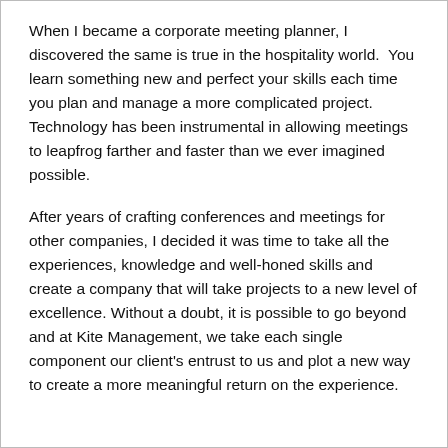When I became a corporate meeting planner, I discovered the same is true in the hospitality world.  You learn something new and perfect your skills each time you plan and manage a more complicated project.   Technology has been instrumental in allowing meetings to leapfrog farther and faster than we ever imagined possible.
After years of crafting conferences and meetings for other companies, I decided it was time to take all the experiences, knowledge and well-honed skills and create a company that will take projects to a new level of excellence. Without a doubt, it is possible to go beyond and at Kite Management, we take each single component our client's entrust to us and plot a new way to create a more meaningful return on the experience.